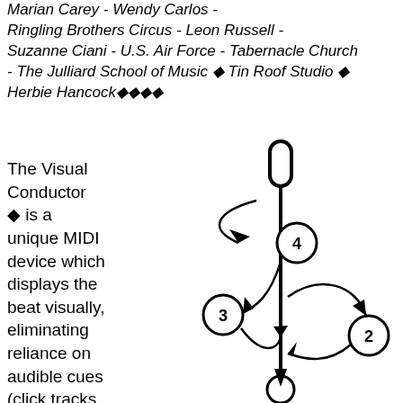Marian Carey - Wendy Carlos - Ringling Brothers Circus - Leon Russell - Suzanne Ciani - U.S. Air Force - Tabernacle Church - The Julliard School of Music ◆ Tin Roof Studio ◆ Herbie Hancock◆◆◆◆
The Visual Conductor ◆ is a unique MIDI device which displays the beat visually, eliminating reliance on audible cues (click tracks, etc). Imagine a live conductor with a light
[Figure (schematic): Diagram of a conductor's baton motion pattern showing a vertical staff/baton with numbered circles (2, 3, 4) connected by curved arrows indicating beat patterns. Circle 4 is near the top center, circle 3 is to the lower left, and circle 2 is to the right. Arrows show the path between beats.]